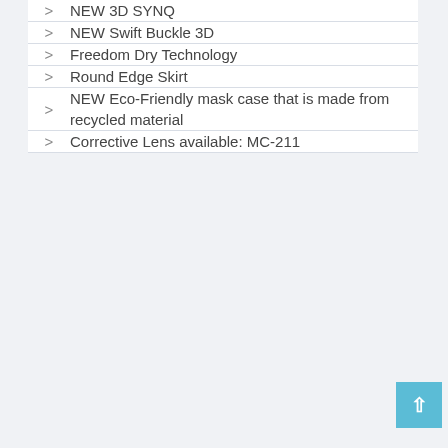NEW 3D SYNQ
NEW Swift Buckle 3D
Freedom Dry Technology
Round Edge Skirt
NEW Eco-Friendly mask case that is made from recycled material
Corrective Lens available: MC-211